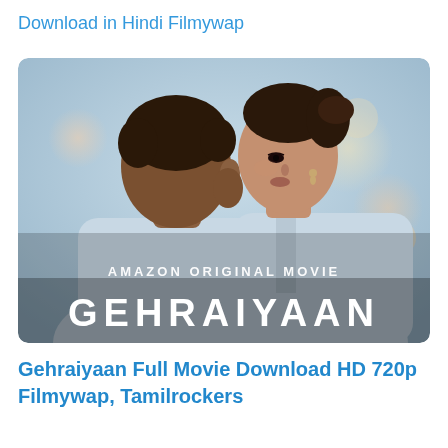Download in Hindi Filmywap
[Figure (photo): Movie poster for Gehraiyaan, an Amazon Original Movie. Shows a man and woman facing each other closely about to kiss, lit with soft bluish bokeh background. Large text at bottom reads GEHRAIYAAN, with AMAZON ORIGINAL MOVIE above it.]
Gehraiyaan Full Movie Download HD 720p Filmywap, Tamilrockers